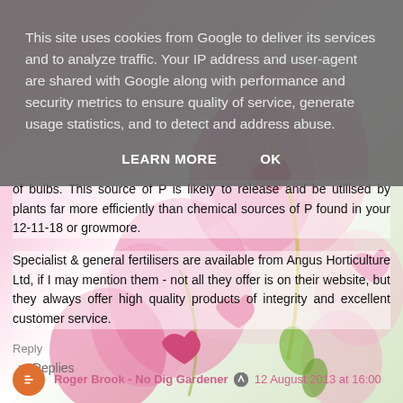This site uses cookies from Google to deliver its services and to analyze traffic. Your IP address and user-agent are shared with Google along with performance and security metrics to ensure quality of service, generate usage statistics, and to detect and address abuse.
LEARN MORE    OK
of bulbs. This source of P is likely to release and be utilised by plants far more efficiently than chemical sources of P found in your 12-11-18 or growmore.
Specialist & general fertilisers are available from Angus Horticulture Ltd, if I may mention them - not all they offer is on their website, but they always offer high quality products of integrity and excellent customer service.
Reply
Replies
Roger Brook - No Dig Gardener  12 August 2013 at 16:00